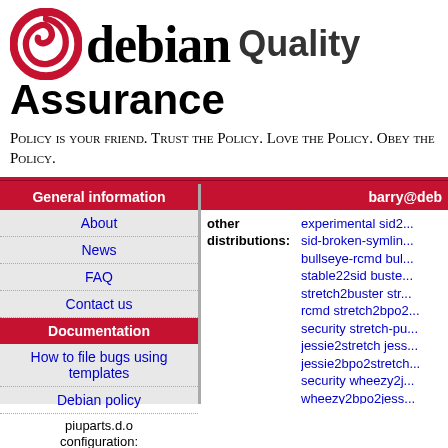[Figure (logo): Debian swirl logo (red circle with swirl) followed by 'debian' in large serif font, 'Quality' in bold sans-serif, and 'Assurance' on the next line in bold sans-serif]
Policy is your friend. Trust the Policy. Love the Policy. Obey the Policy.
| General information |
| --- |
| About |
| News |
| FAQ |
| Contact us |
| Documentation |
| How to file bugs using templates |
| Debian policy |
| piuparts.d.o configuration: |
| barry@deb... |
| --- |
| other distributions: | experimental sid2... sid-broken-symlin... bullseye-rcmd bul... stable22sid buste... stretch2buster str... rcmd stretch2bpo2... security stretch-pu... jessie2stretch jess... jessie2bpo2stretch... security wheezy2j... wheezy2bpo2jess... squeeze2wheezy-... squeeze2bpo2wh... |